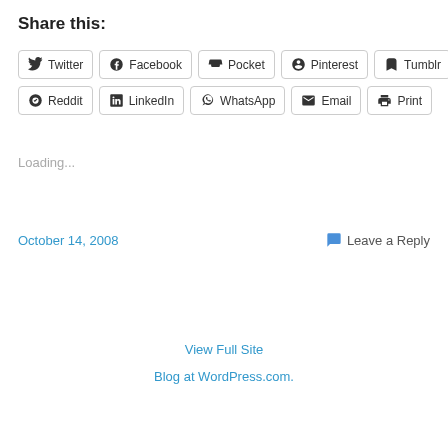Share this:
Twitter
Facebook
Pocket
Pinterest
Tumblr
Reddit
LinkedIn
WhatsApp
Email
Print
Loading...
October 14, 2008
Leave a Reply
View Full Site
Blog at WordPress.com.